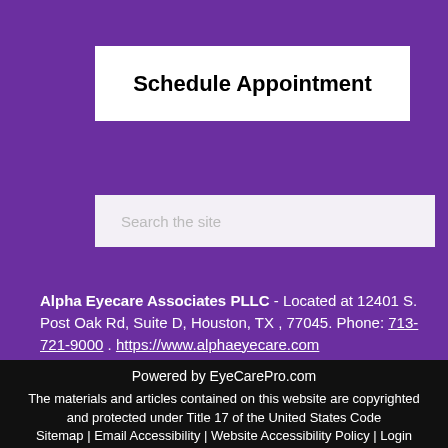Schedule Appointment
Search the site
Alpha Eyecare Associates PLLC - Located at 12401 S. Post Oak Rd, Suite D, Houston, TX , 77045. Phone: 713-721-9000 . https://www.alphaeyecare.com
Powered by EyeCarePro.com
The materials and articles contained on this website are copyrighted and protected under Title 17 of the United States Code
Sitemap | Email Accessibility | Website Accessibility Policy | Login